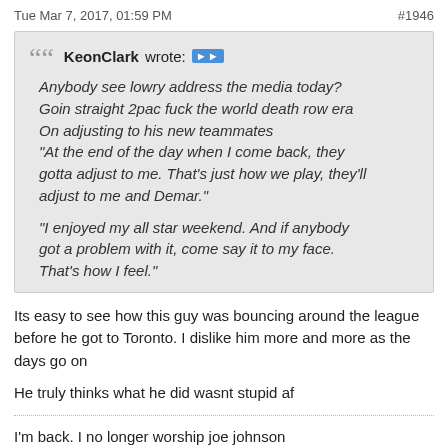Tue Mar 7, 2017, 01:59 PM   #1946
KeonClark wrote: Anybody see lowry address the media today? Goin straight 2pac fuck the world death row era On adjusting to his new teammates "At the end of the day when I come back, they gotta adjust to me. That's just how we play, they'll adjust to me and Demar." "I enjoyed my all star weekend. And if anybody got a problem with it, come say it to my face. That's how I feel."
Its easy to see how this guy was bouncing around the league before he got to Toronto. I dislike him more and more as the days go on
He truly thinks what he did wasnt stupid af
I'm back. I no longer worship joe johnson